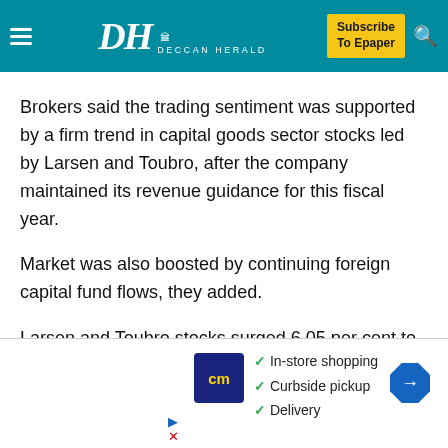Deccan Herald — Subscribe To Epaper
Brokers said the trading sentiment was supported by a firm trend in capital goods sector stocks led by Larsen and Toubro, after the company maintained its revenue guidance for this fiscal year.
Market was also boosted by continuing foreign capital fund flows, they added.
Larsen and Toubro stocks surged 6.05 per cent to Rs 925.15.
They said a better trend in the Asian region and higher opening in Europe amid speculation the Federal Reserve will
[Figure (infographic): Advertisement banner for a store service showing cm logo, checkmarks for In-store shopping, Curbside pickup, Delivery, and a navigation arrow icon]